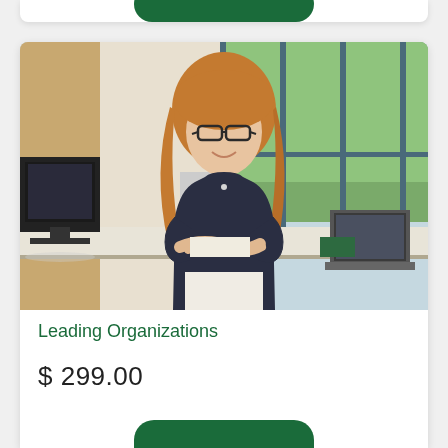[Figure (photo): Professional woman with red-blonde hair and glasses, arms crossed, smiling in a modern office environment with computers and large windows]
Leading Organizations
$ 299.00